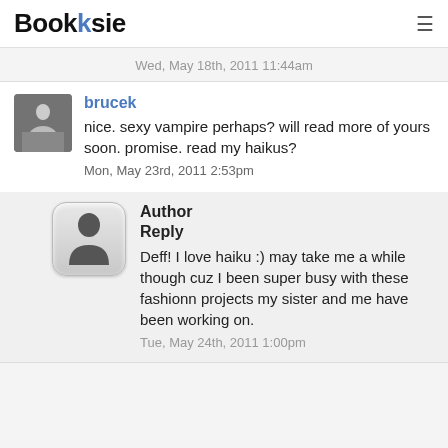Booksie
Wed, May 18th, 2011 11:44am
brucek
nice. sexy vampire perhaps? will read more of yours soon. promise. read my haikus?
Mon, May 23rd, 2011 2:53pm
Author Reply
Deff! I love haiku :) may take me a while though cuz I been super busy with these fashionn projects my sister and me have been working on.
Tue, May 24th, 2011 1:00pm